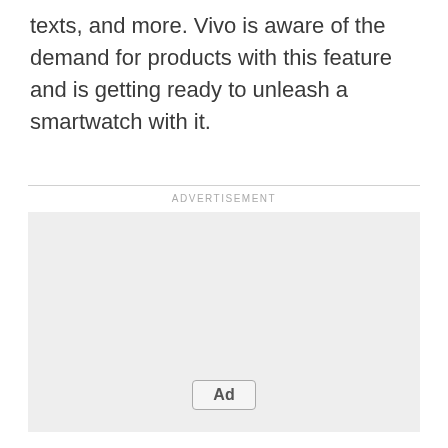texts, and more. Vivo is aware of the demand for products with this feature and is getting ready to unleash a smartwatch with it.
[Figure (other): Advertisement placeholder box with 'ADVERTISEMENT' label above and an 'Ad' button at the bottom center of the gray box.]